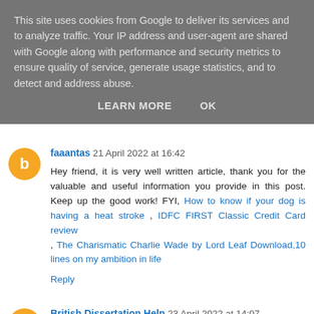This site uses cookies from Google to deliver its services and to analyze traffic. Your IP address and user-agent are shared with Google along with performance and security metrics to ensure quality of service, generate usage statistics, and to detect and address abuse.
LEARN MORE   OK
faaantas 21 April 2022 at 16:42
Hey friend, it is very well written article, thank you for the valuable and useful information you provide in this post. Keep up the good work! FYI, How to know if your dog is having a heat stroke , IDFC FIRST Classic Credit Card review , The Charismatic Charlie Wade by Lord Leaf Download,10 lines on my ambition in life
Reply
British Dissertation Help 23 April 2022 at 14:07
Obtain the best Investment Law Assignment Help from our